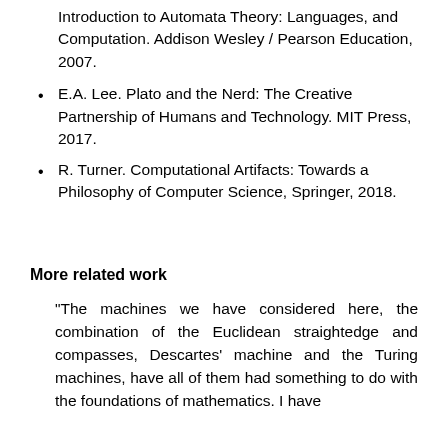Introduction to Automata Theory: Languages, and Computation. Addison Wesley / Pearson Education, 2007.
E.A. Lee. Plato and the Nerd: The Creative Partnership of Humans and Technology. MIT Press, 2017.
R. Turner. Computational Artifacts: Towards a Philosophy of Computer Science, Springer, 2018.
More related work
"The machines we have considered here, the combination of the Euclidean straightedge and compasses, Descartes' machine and the Turing machines, have all of them had something to do with the foundations of mathematics. I have